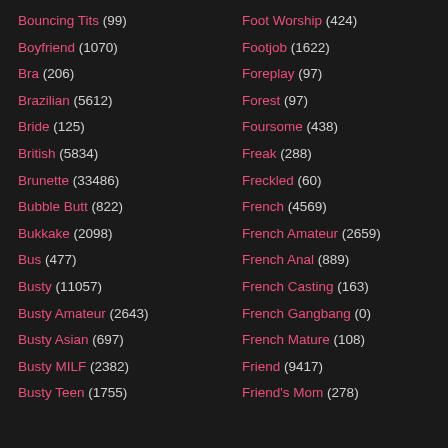Bouncing Tits (99)
Boyfriend (1070)
Bra (206)
Brazilian (5612)
Bride (125)
British (5834)
Brunette (33486)
Bubble Butt (822)
Bukkake (2098)
Bus (477)
Busty (11057)
Busty Amateur (2643)
Busty Asian (697)
Busty MILF (2382)
Busty Teen (1755)
Foot Worship (424)
Footjob (1622)
Foreplay (97)
Forest (97)
Foursome (438)
Freak (288)
Freckled (60)
French (4569)
French Amateur (2659)
French Anal (889)
French Casting (163)
French Gangbang (0)
French Mature (108)
Friend (9417)
Friend's Mom (278)